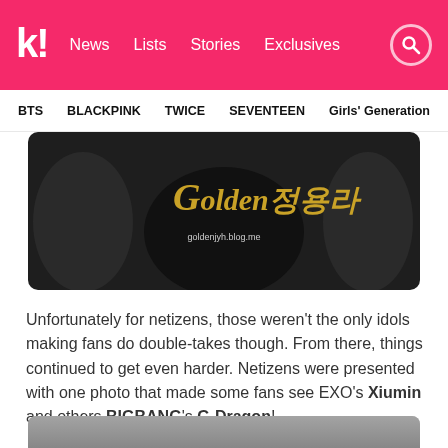k! News Lists Stories Exclusives
BTS BLACKPINK TWICE SEVENTEEN Girls' Generation
[Figure (photo): Photo with Golden정용라watermark and goldenjyh.blog.me URL, dark background with people in background]
Unfortunately for netizens, those weren't the only idols making fans do double-takes though. From there, things continued to get even harder. Netizens were presented with one photo that made some fans see EXO's Xiumin and others BIGBANG's G-Dragon!
[Figure (photo): Partial photo at bottom of page, cropped]